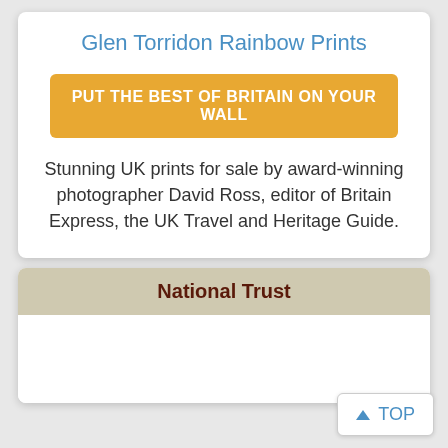Glen Torridon Rainbow Prints
PUT THE BEST OF BRITAIN ON YOUR WALL
Stunning UK prints for sale by award-winning photographer David Ross, editor of Britain Express, the UK Travel and Heritage Guide.
National Trust
TOP